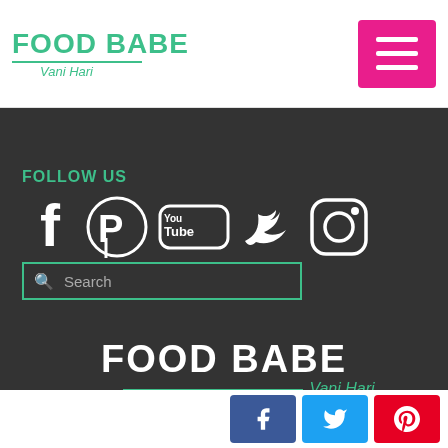FOOD BABE Vani Hari
FAQ
FOLLOW US
[Figure (other): Social media icons row: Facebook, Pinterest, YouTube, Twitter, Instagram]
Search
[Figure (logo): Food Babe Vani Hari logo in white and teal on dark background]
Share buttons: Facebook, Twitter, Pinterest